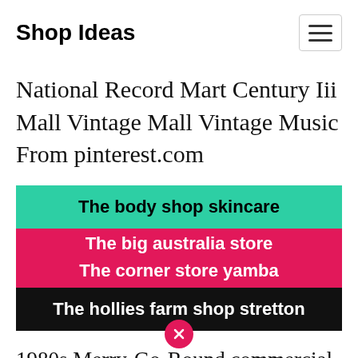Shop Ideas
National Record Mart Century Iii Mall Vintage Mall Vintage Music From pinterest.com
The body shop skincare
The big australia store
The corner store yamba
The hollies farm shop stretton
1980s Merry-Go-Round commercial Camelot Music Camelot Music print ad